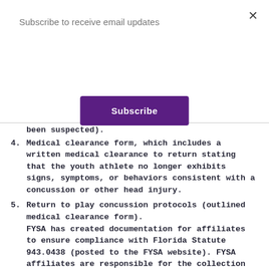Subscribe to receive email updates
Subscribe
been suspected).
4. Medical clearance form, which includes a written medical clearance to return stating that the youth athlete no longer exhibits signs, symptoms, or behaviors consistent with a concussion or other head injury.
5. Return to play concussion protocols (outlined medical clearance form). FYSA has created documentation for affiliates to ensure compliance with Florida Statute 943.0438 (posted to the FYSA website). FYSA affiliates are responsible for the collection and keeping of these documents for ALL registered players. Affiliates may